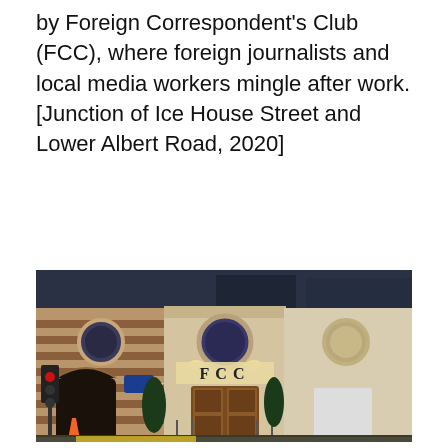by Foreign Correspondent's Club (FCC), where foreign journalists and local media workers mingle after work. [Junction of Ice House Street and Lower Albert Road, 2020]
[Figure (photo): Nighttime exterior photograph of the Foreign Correspondents' Club (FCC) building in Hong Kong, located at the junction of Ice House Street and Lower Albert Road. The historic brick building with striped facade and circular windows is lit up, with 'FCC' illuminated above the main entrance. A red traffic light, blue direction sign, and orange traffic cone are visible on the street.]